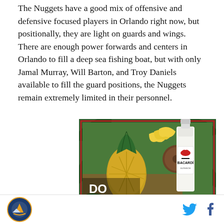The Nuggets have a good mix of offensive and defensive focused players in Orlando right now, but positionally, they are light on guards and wings. There are enough power forwards and centers in Orlando to fill a deep sea fishing boat, but with only Jamal Murray, Will Barton, and Troy Daniels available to fill the guard positions, the Nuggets remain extremely limited in their personnel.
[Figure (photo): Bacardi Superior rum advertisement featuring tropical fruits including pineapples, bananas, and coconuts with text DO WHAT MOVES YOU]
Logo | Twitter | Facebook